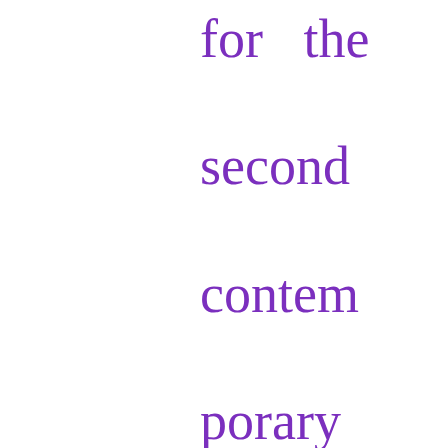for the second contemporary romance in this series ~ And I Love Her. This